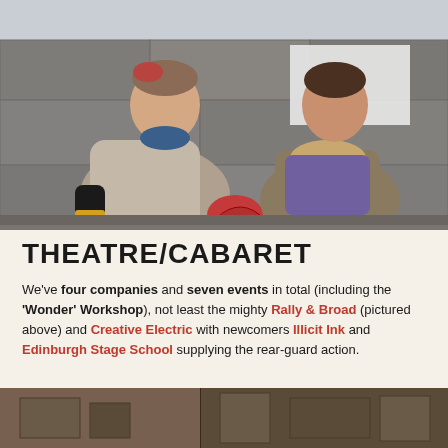[Figure (photo): Two women sitting on stone steps outdoors. The woman on the left wears a knitted sweater and has a red hair accessory, holding a fan. The woman on the right wears a coat with fur collar and holds a blue ukulele. A small sign reads 'Rally & B' between them.]
THEATRE/CABARET
We've four companies and seven events in total (including the 'Wonder' Workshop), not least the mighty Rally & Broad (pictured above) and Creative Electric with newcomers Illicit Ink and Edinburgh Stage School supplying the rear-guard action.
[Figure (photo): Partial view of another photograph at the bottom of the page, showing a stone building exterior.]